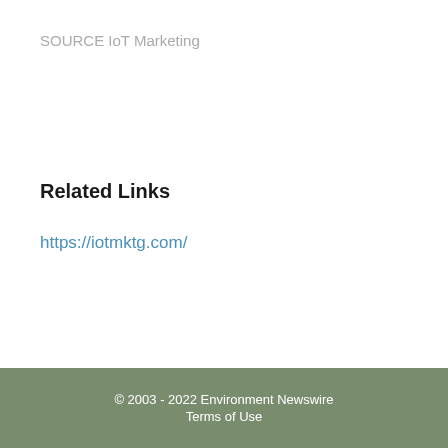SOURCE IoT Marketing
Related Links
https://iotmktg.com/
© 2003 - 2022 Environment Newswire
Terms of Use